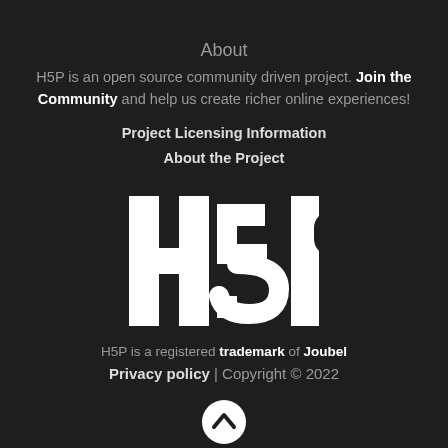About
H5P is an open source community driven project. Join the Community and help us create richer online experiences!
Project Licensing Information
About the Project
[Figure (logo): H5P logo — white lettering on dark background]
H5P is a registered trademark of Joubel
Privacy policy | Copyright © 2022
[Figure (other): Scroll-to-top button with upward chevron]